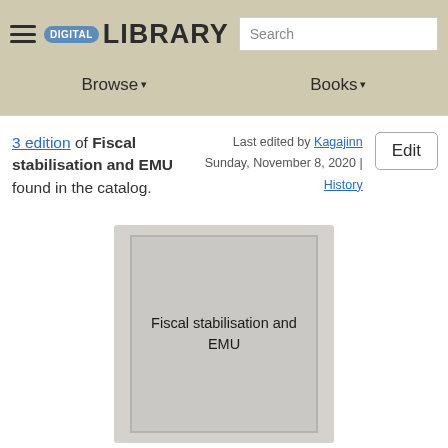DIGITAL LIBRARY  Search  Browse  Books
3 edition of Fiscal stabilisation and EMU found in the catalog.
Last edited by Kagajinn
Sunday, November 8, 2020 | History
Edit
[Figure (illustration): Book cover placeholder showing text 'Fiscal stabilisation and EMU' on a grey background]